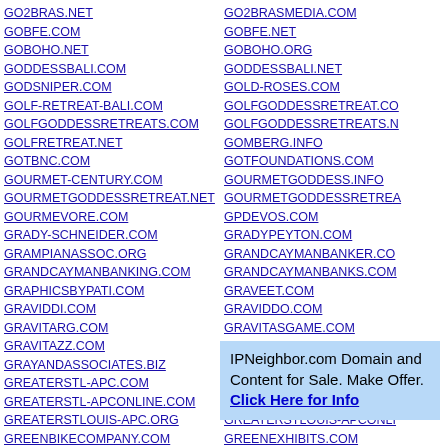GO2BRAS.NET
GOBFE.COM
GOBOHO.NET
GODDESSBALI.COM
GODSNIPER.COM
GOLF-RETREAT-BALI.COM
GOLFGODDESSRETREATS.COM
GOLFRETREAT.NET
GOTBNC.COM
GOURMET-CENTURY.COM
GOURMETGODDESSRETREAT.NET
GOURMEVORE.COM
GRADY-SCHNEIDER.COM
GRAMPIANASSOC.ORG
GRANDCAYMANBANKING.COM
GRAPHICSBYPATI.COM
GRAVIDDI.COM
GRAVITARG.COM
GRAVITAZZ.COM
GRAYANDASSOCIATES.BIZ
GREATERSTL-APC.COM
GREATERSTL-APCONLINE.COM
GREATERSTLOUIS-APC.ORG
GREENBIKECOMPANY.COM
GREENLAKEMARKETING.COM
GREENMOUNTAINEERS.ORG
GREGGROEGLIN.COM
GROUNDSWELL-GROUP.COM
GO2BRASMEDIA.COM
GOBFE.NET
GOBOHO.ORG
GODDESSBALI.NET
GOLD-ROSES.COM
GOLFGODDESSRETREAT.CO
GOLFGODDESSRETREATS.N
GOMBERG.INFO
GOTFOUNDATIONS.COM
GOURMETGODDESS.INFO
GOURMETGODDESSRETREA
GPDEVOS.COM
GRADYPEYTON.COM
GRANDCAYMANBANKER.CO
GRANDCAYMANBANKS.COM
GRAVEET.COM
GRAVIDDO.COM
GRAVITASGAME.COM
GRAVITOPE.COM
GREATCANADIANFIREWOOD
GREATERSTL-APC.NET
GREATERSTLOUIS-APC.COM
GREATERSTLOUIS-APCONLI
GREENEXHIBITS.COM
IPNeighbor.com Domain and Content for Sale. Make Offer. Click Here for Info